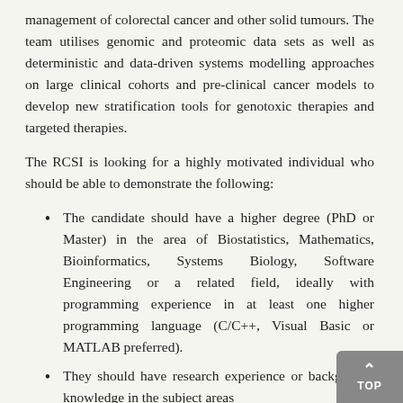management of colorectal cancer and other solid tumours. The team utilises genomic and proteomic data sets as well as deterministic and data-driven systems modelling approaches on large clinical cohorts and pre-clinical cancer models to develop new stratification tools for genotoxic therapies and targeted therapies.
The RCSI is looking for a highly motivated individual who should be able to demonstrate the following:
The candidate should have a higher degree (PhD or Master) in the area of Biostatistics, Mathematics, Bioinformatics, Systems Biology, Software Engineering or a related field, ideally with programming experience in at least one higher programming language (C/C++, Visual Basic or MATLAB preferred).
They should have research experience or background knowledge in the subject areas